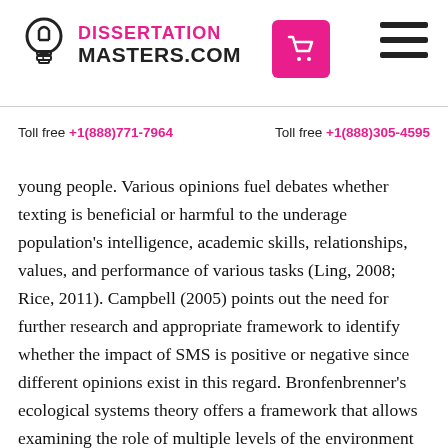DISSERTATION MASTERS.COM
Toll free +1(888)771-7964   Toll free +1(888)305-4595
young people. Various opinions fuel debates whether texting is beneficial or harmful to the underage population's intelligence, academic skills, relationships, values, and performance of various tasks (Ling, 2008; Rice, 2011). Campbell (2005) points out the need for further research and appropriate framework to identify whether the impact of SMS is positive or negative since different opinions exist in this regard. Bronfenbrenner's ecological systems theory offers a framework that allows examining the role of multiple levels of the environment with respect to the person's development. Ecological theory acknowledges both the role of the individual and the dynamic and changing context in which the individual functions